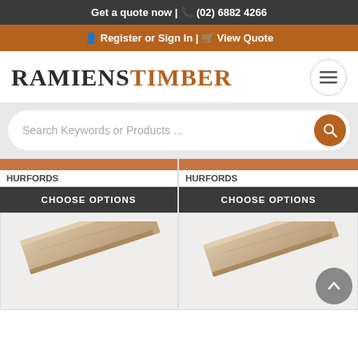Get a quote now | ☎ (02) 6882 4266
Register or Sign In | View Quote
RAMIENSTIMBER
Search Keywords or Products ...
HURFORDS
CHOOSE OPTIONS
HURFORDS
CHOOSE OPTIONS
[Figure (photo): Timber plank product photo - light wood piece shown at an angle, tongue and groove profile visible]
[Figure (photo): Timber plank product photo - light wood piece shown at an angle, tongue and groove profile visible]